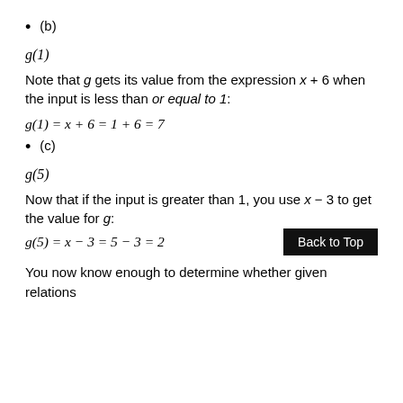(b)
Note that g gets its value from the expression x + 6 when the input is less than or equal to 1:
(c)
Now that if the input is greater than 1, you use x − 3 to get the value for g:
You now know enough to determine whether given relations